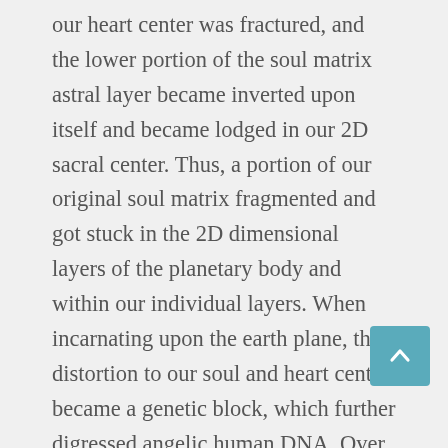our heart center was fractured, and the lower portion of the soul matrix astral layer became inverted upon itself and became lodged in our 2D sacral center. Thus, a portion of our original soul matrix fragmented and got stuck in the 2D dimensional layers of the planetary body and within our individual layers. When incarnating upon the earth plane, this distortion to our soul and heart center became a genetic block, which further digressed angelic human DNA. Over time these became generational distortions which manifested into the disconnection between the 2D elemental field of the physical body, the 1D unconscious mind and both the lower and higher part of the astral identity that form into the soul matrix. Essentially, what this means is that when incarnating in a